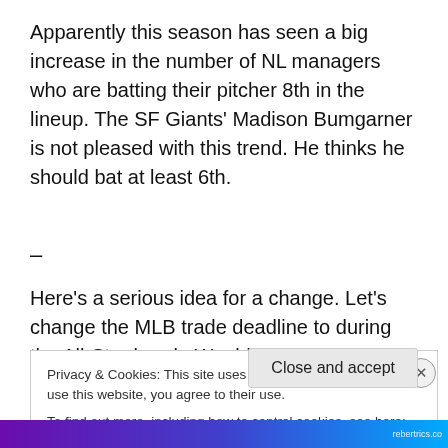Apparently this season has seen a big increase in the number of NL managers who are batting their pitcher 8th in the lineup. The SF Giants' Madison Bumgarner is not pleased with this trend. He thinks he should bat at least 6th.
–
Here's a serious idea for a change. Let's change the MLB trade deadline to during the All-Star break. Would make it easier for players to get to their new teams. And would
Privacy & Cookies: This site uses cookies. By continuing to use this website, you agree to their use.
To find out more, including how to control cookies, see here: Cookie Policy
Close and accept